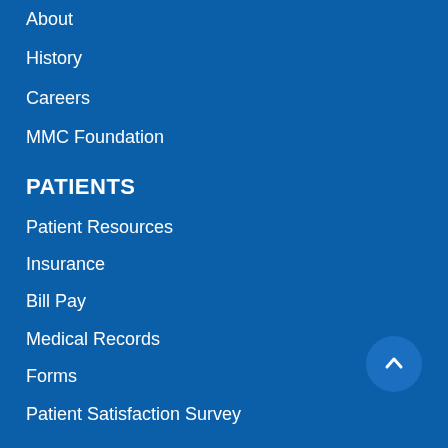About
History
Careers
MMC Foundation
PATIENTS
Patient Resources
Insurance
Bill Pay
Medical Records
Forms
Patient Satisfaction Survey
CONNECT